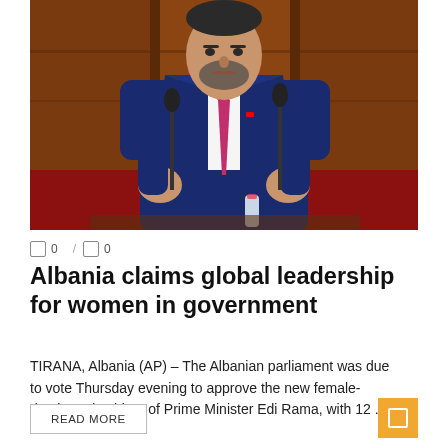[Figure (photo): A man in a blue suit and pink tie speaks at a podium with two microphones. He is gesturing with both hands. The background shows wooden panels suggesting a parliamentary or official setting. A small water bottle is visible on the podium.]
0 / 0
Albania claims global leadership for women in government
TIRANA, Albania (AP) – The Albanian parliament was due to vote Thursday evening to approve the new female-dominated cabinet of Prime Minister Edi Rama, with 12 ...